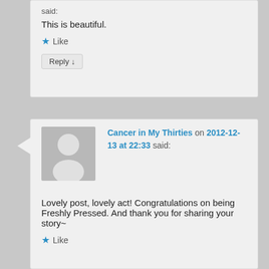said:
This is beautiful.
★ Like
Reply ↓
[Figure (illustration): Default user avatar placeholder — gray square with white silhouette of a person]
Cancer in My Thirties on 2012-12-13 at 22:33 said:
Lovely post, lovely act! Congratulations on being Freshly Pressed. And thank you for sharing your story~
★ Like